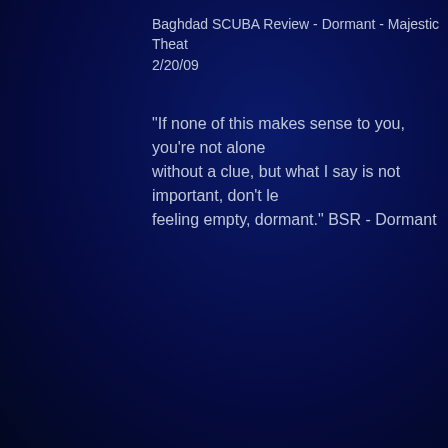Baghdad SCUBA Review - Dormant - Majestic Theat 2/20/09
"If none of this makes sense to you, you're not alone without a clue, but what I say is not important, don't le feeling empty, dormant." BSR - Dormant
[back to top]